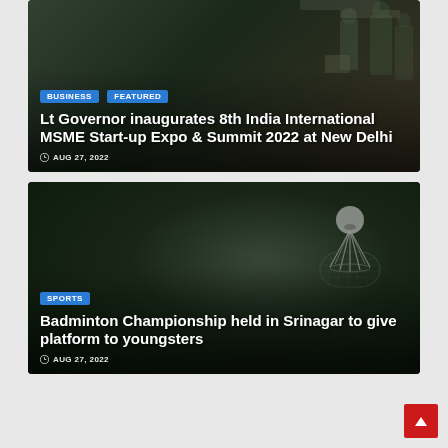[Figure (photo): News article card with dark background showing people at MSME event. Tags: BUSINESS, FEATURED. Title: Lt Governor inaugurates 8th India International MSME Start-up Expo & Summit 2022 at New Delhi. Date: AUG 27, 2022.]
[Figure (photo): News article card with dark green background showing badminton shuttlecock and racket. Tag: SPORTS. Title: Badminton Championship held in Srinagar to give platform to youngsters. Date: AUG 27, 2022.]